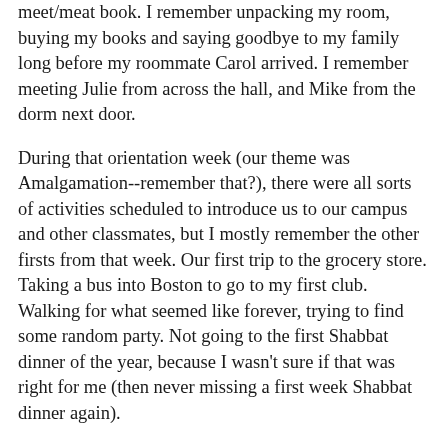meet/meat book. I remember unpacking my room, buying my books and saying goodbye to my family long before my roommate Carol arrived. I remember meeting Julie from across the hall, and Mike from the dorm next door.
During that orientation week (our theme was Amalgamation--remember that?), there were all sorts of activities scheduled to introduce us to our campus and other classmates, but I mostly remember the other firsts from that week. Our first trip to the grocery store. Taking a bus into Boston to go to my first club. Walking for what seemed like forever, trying to find some random party. Not going to the first Shabbat dinner of the year, because I wasn't sure if that was right for me (then never missing a first week Shabbat dinner again).
That first semester was filled with early morning breakfasts with half of my hall-mates before Chem class, and planning for our first "Screw Your Roommate" dance (oh how we planned). It was about finger painting our window shade, funny email forwards printed out and taped into bathroom stalls, and hosting as many people as we could on the floor of our dorm room. It was about USEM (the required